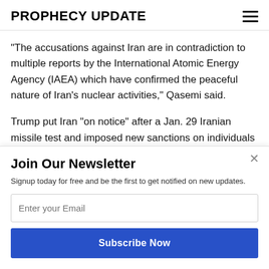PROPHECY UPDATE
"The accusations against Iran are in contradiction to multiple reports by the International Atomic Energy Agency (IAEA) which have confirmed the peaceful nature of Iran's nuclear activities," Qasemi said.
Trump put Iran "on notice" after a Jan. 29 Iranian missile test and imposed new sanctions on individuals and
Join Our Newsletter
Signup today for free and be the first to get notified on new updates.